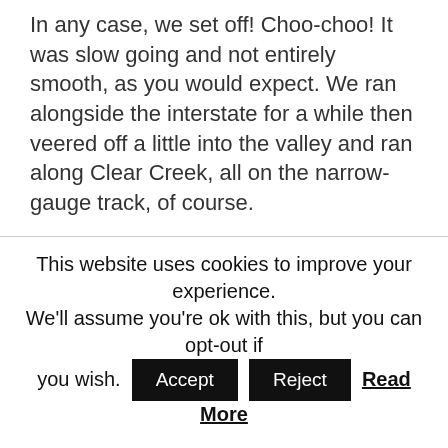In any case, we set off! Choo-choo! It was slow going and not entirely smooth, as you would expect. We ran alongside the interstate for a while then veered off a little into the valley and ran along Clear Creek, all on the narrow-gauge track, of course.
Along the way we passed, and actually stopped at, the old Lebanon mine, which has also been restored along with the railway. For extra pesos you can get off the train here, tour the mine and pan for gold or silver (see the two sluices under the foremost tent?) and get back on the train on its next round
This website uses cookies to improve your experience. We'll assume you're ok with this, but you can opt-out if you wish. Accept Reject Read More